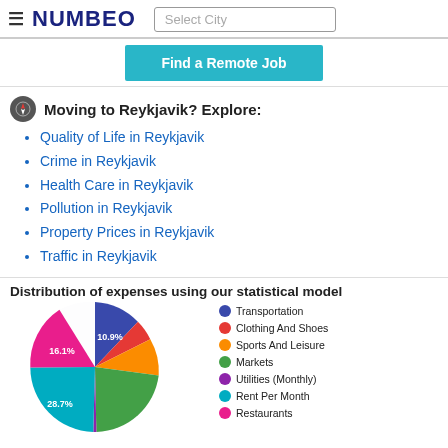NUMBEO | Select City
Find a Remote Job
Moving to Reykjavik? Explore:
Quality of Life in Reykjavik
Crime in Reykjavik
Health Care in Reykjavik
Pollution in Reykjavik
Property Prices in Reykjavik
Traffic in Reykjavik
Distribution of expenses using our statistical model
[Figure (pie-chart): Distribution of expenses using our statistical model]